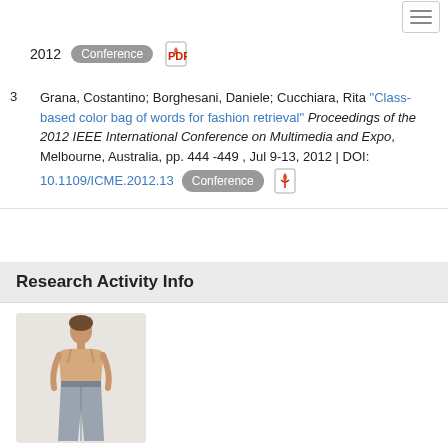2012  Conference  [PDF icon]
3  Grana, Costantino; Borghesani, Daniele; Cucchiara, Rita "Class-based color bag of words for fashion retrieval" Proceedings of the 2012 IEEE International Conference on Multimedia and Expo, Melbourne, Australia, pp. 444 -449 , Jul 9-13, 2012 | DOI: 10.1109/ICME.2012.13  Conference  [PDF icon]
Research Activity Info
[Figure (photo): A woman wearing a beige/cream tank top and grey jeans, fashion product photo]
Staff
Rita Cucchiara
Costantino Grana